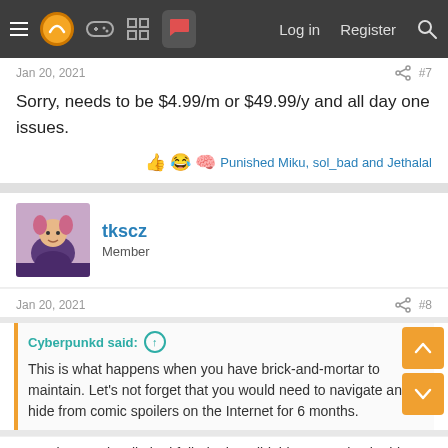Navigation bar with menu, logo, icons, Log in, Register, Search
Jan 20, 2021  #7
Sorry, needs to be $4.99/m or $49.99/y and all day one issues.
Reactions: Punished Miku, sol_bad and Jethalal
[Figure (illustration): Avatar image of user tkscz - cartoon character]
tkscz
Member
Jan 20, 2021  #8
Cyberpunkd said: ↑
This is what happens when you have brick-and-mortar to maintain. Let's not forget that you would need to navigate and hide from comic spoilers on the Internet for 6 months.
It was b Marvel Unlimited failed. They did this. 6 months the hits...